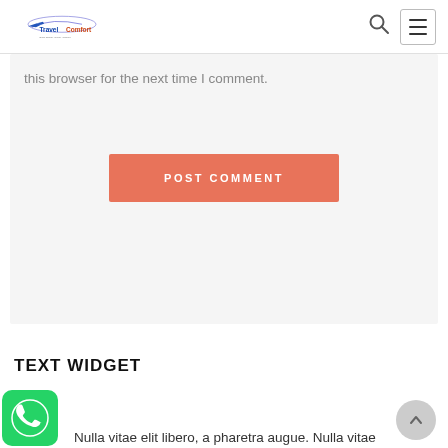Travel Comfort
this browser for the next time I comment.
POST COMMENT
TEXT WIDGET
Nulla vitae elit libero, a pharetra augue. Nulla vitae